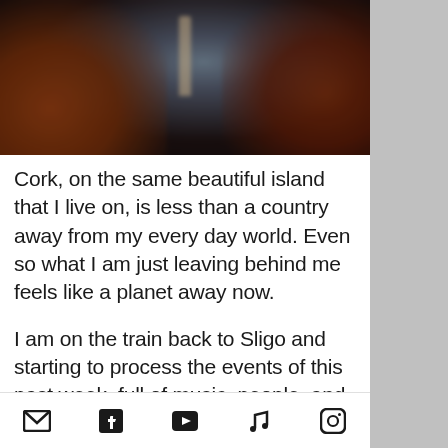[Figure (photo): Blurry dark photo of a stage or performance scene with warm reddish-brown tones and a faint figure in the center]
Cork, on the same beautiful island that I live on, is less than a country away from my every day world. Even so what I am just leaving behind me feels like a planet away now.
I am on the train back to Sligo and starting to process the events of this past week, full of music, people, and other-wordlyness. Led by Mel's drum, Colin Dunne's impressive and definite
Email | Facebook | YouTube | Music | Instagram icons (navigation bar)